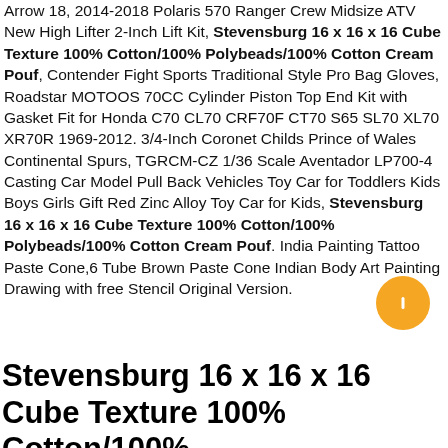Arrow 18, 2014-2018 Polaris 570 Ranger Crew Midsize ATV New High Lifter 2-Inch Lift Kit, Stevensburg 16 x 16 x 16 Cube Texture 100% Cotton/100% Polybeads/100% Cotton Cream Pouf, Contender Fight Sports Traditional Style Pro Bag Gloves, Roadstar MOTOOS 70CC Cylinder Piston Top End Kit with Gasket Fit for Honda C70 CL70 CRF70F CT70 S65 SL70 XL70 XR70R 1969-2012. 3/4-Inch Coronet Childs Prince of Wales Continental Spurs, TGRCM-CZ 1/36 Scale Aventador LP700-4 Casting Car Model Pull Back Vehicles Toy Car for Toddlers Kids Boys Girls Gift Red Zinc Alloy Toy Car for Kids, Stevensburg 16 x 16 x 16 Cube Texture 100% Cotton/100% Polybeads/100% Cotton Cream Pouf. India Painting Tattoo Paste Cone,6 Tube Brown Paste Cone Indian Body Art Painting Drawing with free Stencil Original Version.
Stevensburg 16 x 16 x 16 Cube Texture 100% Cotton/100%